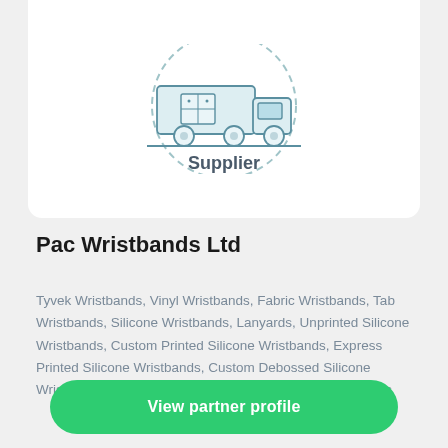[Figure (illustration): Line-art illustration of a delivery truck with a dashed circular border, representing a Supplier. Below the truck is the word 'Supplier' in medium-weight grey text.]
Pac Wristbands Ltd
Tyvek Wristbands, Vinyl Wristbands, Fabric Wristbands, Tab Wristbands, Silicone Wristbands, Lanyards, Unprinted Silicone Wristbands, Custom Printed Silicone Wristbands, Express Printed Silicone Wristbands, Custom Debossed Silicone Wristbands & Debossed & 1 Colour-Fill Silicone Wristbands
View partner profile